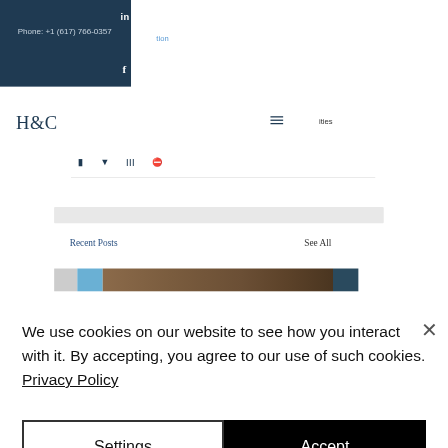Phone: +1 (617) 766-0357
H&C
ities
[Figure (screenshot): Social share icons row: Facebook, Twitter/bird, LinkedIn bars, and link icon in dark navy color]
[Figure (screenshot): Recent Posts section header with See All link, and image strip below]
Recent Posts
See All
We use cookies on our website to see how you interact with it. By accepting, you agree to our use of such cookies. Privacy Policy
Settings
Accept